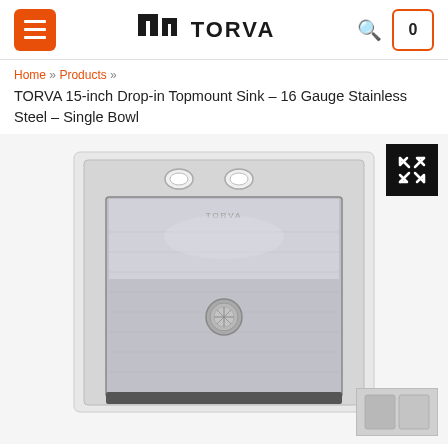TORVA — navigation header with hamburger menu, logo, search, and cart
Home » Products »
TORVA 15-inch Drop-in Topmount Sink – 16 Gauge Stainless Steel – Single Bowl
[Figure (photo): TORVA 15-inch Drop-in Topmount single bowl stainless steel sink, top-down perspective view showing the square bowl with drain in center, two pre-drilled holes at back, and a small thumbnail strip visible at bottom right. An expand/fullscreen button is shown in the top-right corner.]